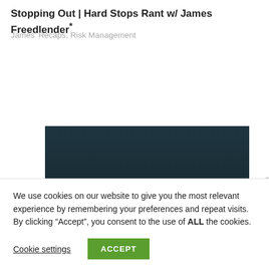Stopping Out | Hard Stops Rant w/ James Freedlender*
James' Recaps, Risk Management
[Figure (screenshot): Embedded video player with dark teal background and video playback controls bar at the bottom showing a progress bar and timestamp]
We use cookies on our website to give you the most relevant experience by remembering your preferences and repeat visits. By clicking “Accept”, you consent to the use of ALL the cookies.
Cookie settings   ACCEPT